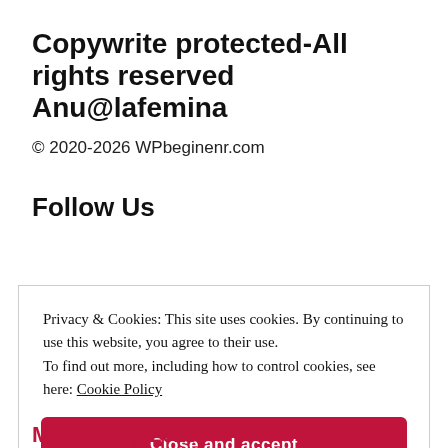Copywrite protected-All rights reserved Anu@lafemina
© 2020-2026 WPbeginenr.com
Follow Us
Privacy & Cookies: This site uses cookies. By continuing to use this website, you agree to their use.
To find out more, including how to control cookies, see here: Cookie Policy
Close and accept
Malala day 2020